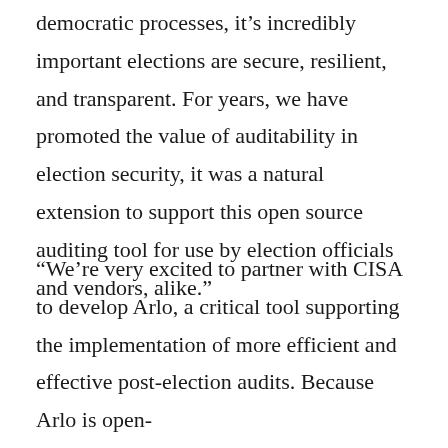democratic processes, it’s incredibly important elections are secure, resilient, and transparent. For years, we have promoted the value of auditability in election security, it was a natural extension to support this open source auditing tool for use by election officials and vendors, alike.”
“We’re very excited to partner with CISA to develop Arlo, a critical tool supporting the implementation of more efficient and effective post-election audits. Because Arlo is open-